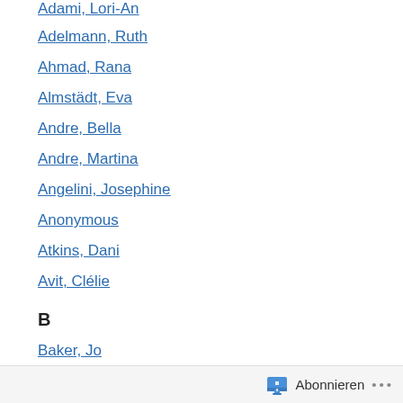Adami, Lori-An
Adelmann, Ruth
Ahmad, Rana
Almstädt, Eva
Andre, Bella
Andre, Martina
Angelini, Josephine
Anonymous
Atkins, Dani
Avit, Clélie
B
Baker, Jo
Bale, Tom
Ballard, J.G.
Banerjee, Anjali
Barclay, Linwood
Barker, J.D.
Abonnieren